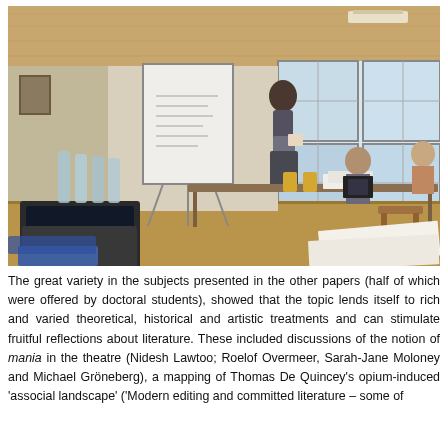[Figure (photo): Indoor seminar or workshop room photo: a person stands at a whiteboard/flipchart presenting to a small group seated at tables. Laptops, water bottles, papers and glasses of juice are visible on the tables. Large windows with natural light are in the background. Wooden ceiling and parquet floor visible.]
The great variety in the subjects presented in the other papers (half of which were offered by doctoral students), showed that the topic lends itself to rich and varied theoretical, historical and artistic treatments and can stimulate fruitful reflections about literature. These included discussions of the notion of mania in the theatre (Nidesh Lawtoo; Roelof Overmeer, Sarah-Jane Moloney and Michael Gröneberg), a mapping of Thomas De Quincey's opium-induced 'associal landscape' ('Modern editing and committed literature – some of